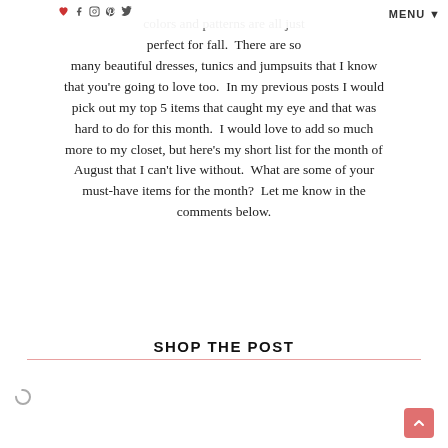MENU
colors and patterns are all just perfect for fall. There are so many beautiful dresses, tunics and jumpsuits that I know that you're going to love too. In my previous posts I would pick out my top 5 items that caught my eye and that was hard to do for this month. I would love to add so much more to my closet, but here's my short list for the month of August that I can't live without. What are some of your must-have items for the month? Let me know in the comments below.
SHOP THE POST